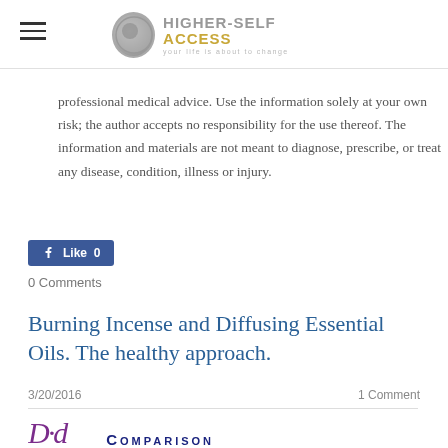HIGHER-SELF ACCESS — your life is about to change
professional medical advice. Use the information solely at your own risk; the author accepts no responsibility for the use thereof. The information and materials are not meant to diagnose, prescribe, or treat any disease, condition, illness or injury.
[Figure (other): Facebook Like button showing 0 likes]
0 Comments
Burning Incense and Diffusing Essential Oils. The healthy approach.
3/20/2016   1 Comment
[Figure (other): Script logo letters and COMPARISON text preview]